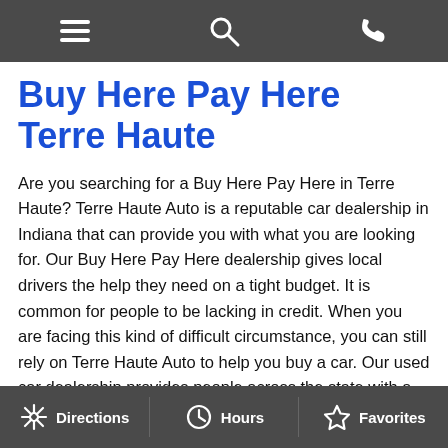Navigation bar with menu, search, and phone icons
Buy Here Pay Here Terre Haute
Are you searching for a Buy Here Pay Here in Terre Haute? Terre Haute Auto is a reputable car dealership in Indiana that can provide you with what you are looking for. Our Buy Here Pay Here dealership gives local drivers the help they need on a tight budget. It is common for people to be lacking in credit. When you are facing this kind of difficult circumstance, you can still rely on Terre Haute Auto to help you buy a car. Our used car dealership provides people across the state with a diverse inventory and reliable service. Not only do we have a wide selection of used cars for sale, but we also have the means to finance them. As a Buy Here Pay Here in Terre Haute, we can help you feel confident getting back on the road. There are credit opportunities and more available to our local drivers, all you need to do is visit Terre Haute Auto. of course, some people struggle to create time in their schedule. If you are unable to visit Terre Haute
Directions | Hours | Favorites